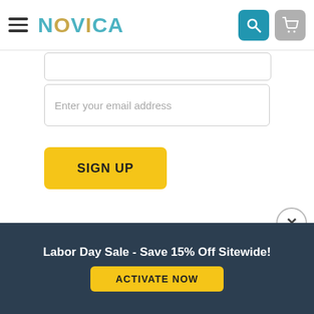NOVICA
[Figure (screenshot): Email input field with placeholder 'Enter your email address']
SIGN UP
[Figure (logo): Certified B Corporation logo with circle containing letter B]
This company meets the highest standards of social and environmental impact
Labor Day Sale - Save 15% Off Sitewide!
ACTIVATE NOW